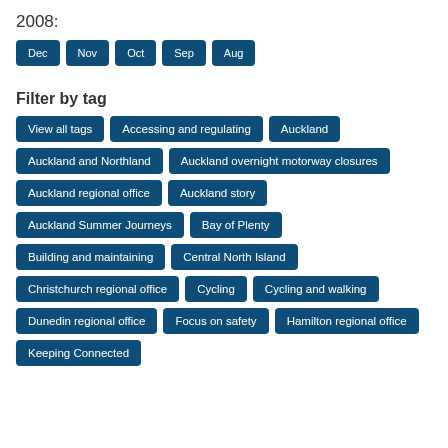2008:
Dec
Nov
Oct
Sep
Aug
Filter by tag
View all tags
Accessing and regulating
Auckland
Auckland and Northland
Auckland overnight motorway closures
Auckland regional office
Auckland story
Auckland Summer Journeys
Bay of Plenty
Building and maintaining
Central North Island
Christchurch regional office
Cycling
Cycling and walking
Dunedin regional office
Focus on safety
Hamilton regional office
Keeping Connected